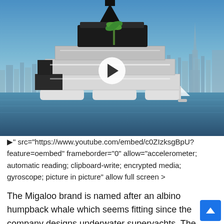[Figure (screenshot): CNN YouTube video thumbnail showing a large futuristic floating resort island structure on water with a city skyline in the background. Video title reads 'A resort island that travels to you'. A white play button circle is centered on the thumbnail.]
►" src="https://www.youtube.com/embed/c0ZIzksgBpU?feature=oembed" frameborder="0" allow="accelerometer; automatic reading; clipboard-write; encrypted media; gyroscope; picture in picture" allow full screen >
The Migaloo brand is named after an albino humpback whale which seems fitting since the company designs underwater superyachts. The company believes that the evolution of conventional megayachts has reached its peak, and therefore cannot meet the needs of new owners.